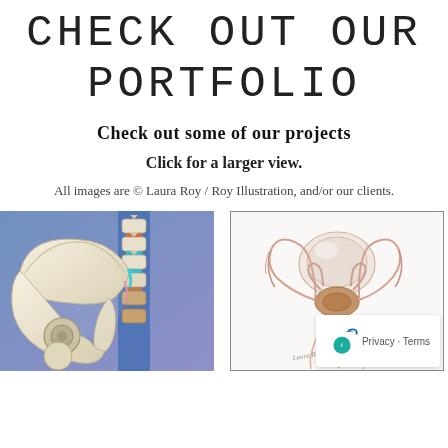CHECK OUT OUR PORTFOLIO
Check out some of our projects
Click for a larger view.
All images are © Laura Roy / Roy Illustration, and/or our clients.
[Figure (illustration): Medical illustration of human pelvis and spine model showing vertebrae, ilium, sacrum, with color-coded structures in blue, teal, and pink on a blue-purple background.]
[Figure (illustration): Medical illustration of male urological anatomy showing bladder, prostate, testicular anatomy with pink/brown tones on white background, with a signature at bottom left.]